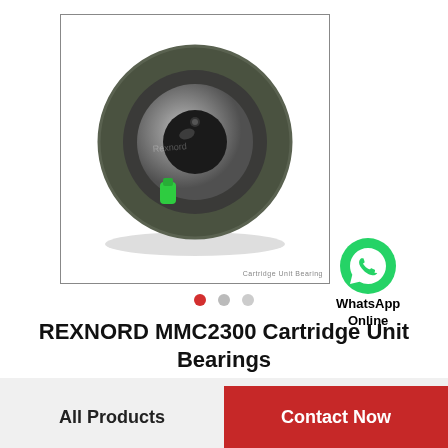[Figure (photo): Photo of a REXNORD MMC2300 Cartridge Unit Bearing — a round green industrial bearing unit with stainless steel inner race, green grease fitting, shown on white background inside a bordered image frame. A WhatsApp icon and 'WhatsApp Online' text overlay appears outside bottom-right of the frame.]
REXNORD MMC2300 Cartridge Unit Bearings
All Products
Contact Now